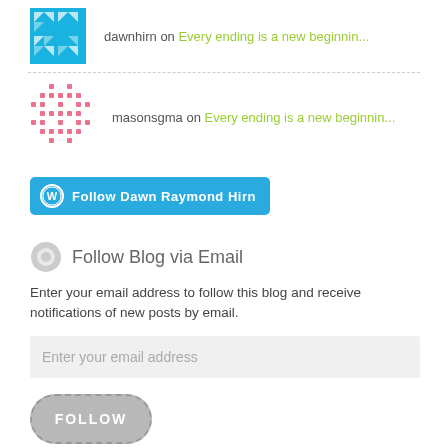[Figure (illustration): Cyan/teal avatar with geometric triangular pattern for user dawnhirn]
dawnhirn on Every ending is a new beginnin...
[Figure (illustration): Pink/rose avatar with grid dot pattern for user masonsgma]
masonsgma on Every ending is a new beginnin...
[Figure (other): Blue button with WordPress icon: Follow Dawn Raymond Hirn]
Follow Blog via Email
Enter your email address to follow this blog and receive notifications of new posts by email.
Enter your email address
FOLLOW